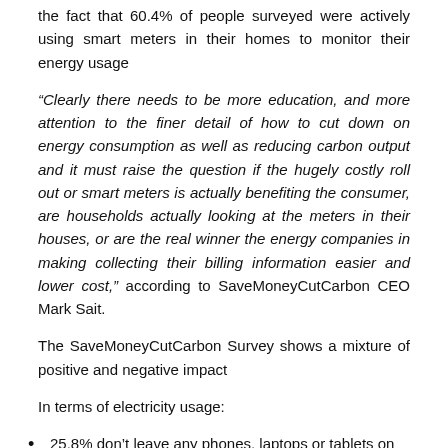the fact that 60.4% of people surveyed were actively using smart meters in their homes to monitor their energy usage
“Clearly there needs to be more education, and more attention to the finer detail of how to cut down on energy consumption as well as reducing carbon output and it must raise the question if the hugely costly roll out or smart meters is actually benefiting the consumer, are households actually looking at the meters in their houses, or are the real winner the energy companies in making collecting their billing information easier and lower cost,” according to SaveMoneyCutCarbon CEO Mark Sait.
The SaveMoneyCutCarbon Survey shows a mixture of positive and negative impact
In terms of electricity usage:
25.8% don’t leave any phones, laptops or tablets on